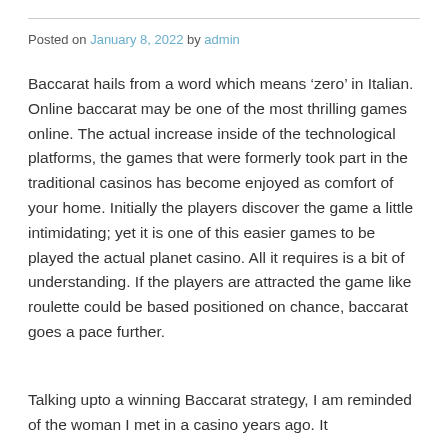Posted on January 8, 2022 by admin
Baccarat hails from a word which means ‘zero’ in Italian. Online baccarat may be one of the most thrilling games online. The actual increase inside of the technological platforms, the games that were formerly took part in the traditional casinos has become enjoyed as comfort of your home. Initially the players discover the game a little intimidating; yet it is one of this easier games to be played the actual planet casino. All it requires is a bit of understanding. If the players are attracted the game like roulette could be based positioned on chance, baccarat goes a pace further.
Talking upto a winning Baccarat strategy, I am reminded of the woman I met in a casino years ago. It